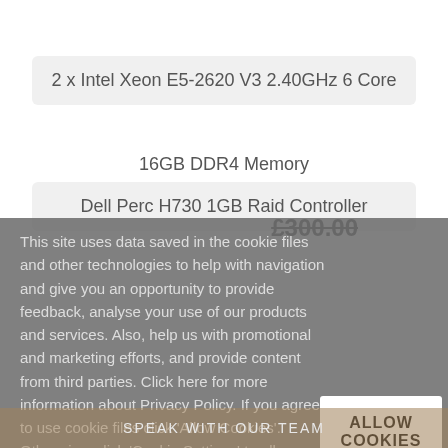2 x Intel Xeon E5-2620 V3 2.40GHz 6 Core
16GB DDR4 Memory
Dell Perc H730 1GB Raid Controller
£300.00
VIEW DETAILS
ADD TO WISHLIST
This site uses data saved in the cookie files and other technologies to help with navigation and give you an opportunity to provide feedback, analyse your use of our products and services. Also, help us with promotional and marketing efforts, and provide content from third parties. Click here for more information about Privacy Policy. If you agree to use cookie files click 'Allow Cookies'. Otherwise, click 'Cookie Settings' to allow or prohibit some cookie categories.
ALLOW COOKIES
COOKIE SETTINGS
SPEAK WITH OUR TEAM